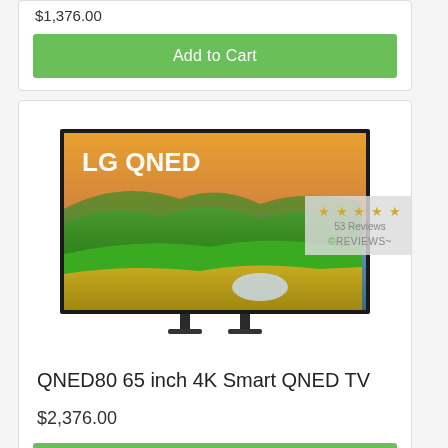$1,376.00
Add to Cart
[Figure (screenshot): LG QNED TV product image showing a 65-inch TV displaying a scenic green rolling hills landscape with the LG QNED logo on screen]
QNED80 65 inch 4K Smart QNED TV
$2,376.00
Add to Cart